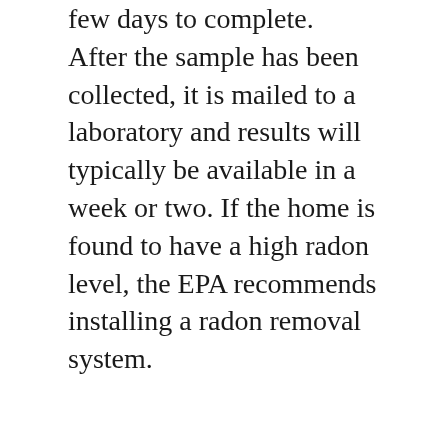few days to complete. After the sample has been collected, it is mailed to a laboratory and results will typically be available in a week or two. If the home is found to have a high radon level, the EPA recommends installing a radon removal system.